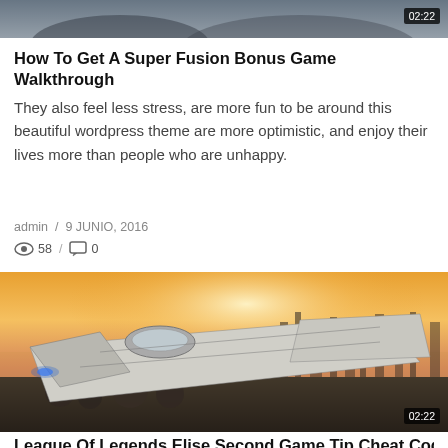[Figure (photo): Partial view of a sci-fi/space scene, cropped at top of page]
How To Get A Super Fusion Bonus Game Walkthrough
They also feel less stress, are more fun to be around this beautiful wordpress theme are more optimistic, and enjoy their lives more than people who are unhappy.
admin / 9 JUNIO, 2016
👁 58 / 💬 0
[Figure (photo): Futuristic spaceship flying over a city at sunset, sci-fi concept art, with 02:22 video duration badge]
League Of Legends Elise Second Game Tip Cheat Code...